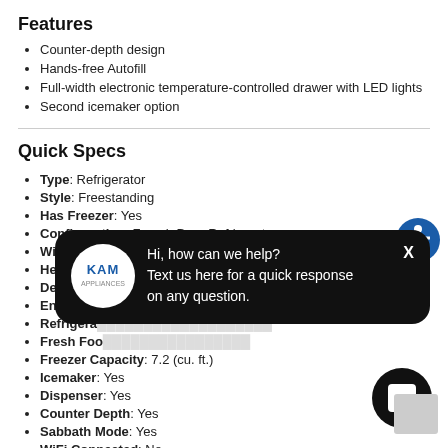Features
Counter-depth design
Hands-free Autofill
Full-width electronic temperature-controlled drawer with LED lights
Second icemaker option
Quick Specs
Type: Refrigerator
Style: Freestanding
Has Freezer: Yes
Configuration: French Door Refrigerator
Width: 35.75"
Height: 6'...
Depth: 31...
Energy S...
Refrigera...
Fresh Foo...
Freezer Capacity: 7.2 (cu. ft.)
Icemaker: Yes
Dispenser: Yes
Counter Depth: Yes
Sabbath Mode: Yes
WiFi Connected: No